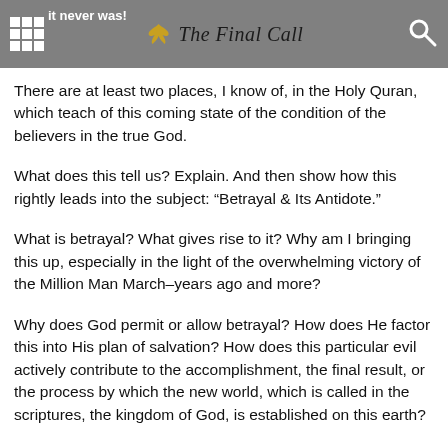it never was! The Final Call
There are at least two places, I know of, in the Holy Quran, which teach of this coming state of the condition of the believers in the true God.
What does this tell us? Explain. And then show how this rightly leads into the subject: “Betrayal & Its Antidote.”
What is betrayal? What gives rise to it? Why am I bringing this up, especially in the light of the overwhelming victory of the Million Man March–years ago and more?
Why does God permit or allow betrayal? How does He factor this into His plan of salvation? How does this particular evil actively contribute to the accomplishment, the final result, or the process by which the new world, which is called in the scriptures, the kingdom of God, is established on this earth?